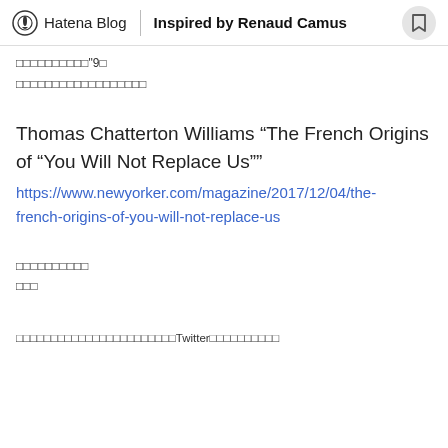Hatena Blog | Inspired by Renaud Camus
□□□□□□□□□□"9□
□□□□□□□□□□□□□□□□□□
Thomas Chatterton Williams “The French Origins of “You Will Not Replace Us””
https://www.newyorker.com/magazine/2017/12/04/the-french-origins-of-you-will-not-replace-us
□□□□□□□□□□
□□□
□□□□□□□□□□□□□□□□□□□□□□□Twitter□□□□□□□□□□